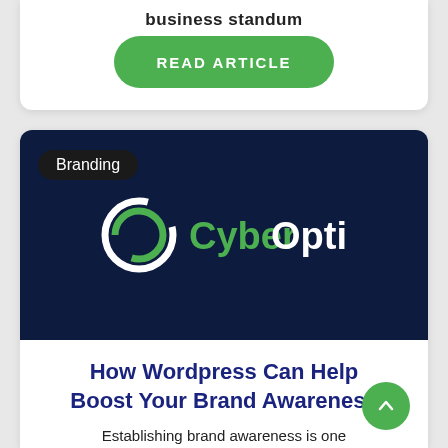business standum
READ ARTICLE
[Figure (logo): CyberOptik logo on dark navy background with white circular C icon and green/white CyberOptik. text]
Branding
How Wordpress Can Help Boost Your Brand Awareness
Establishing brand awareness is one